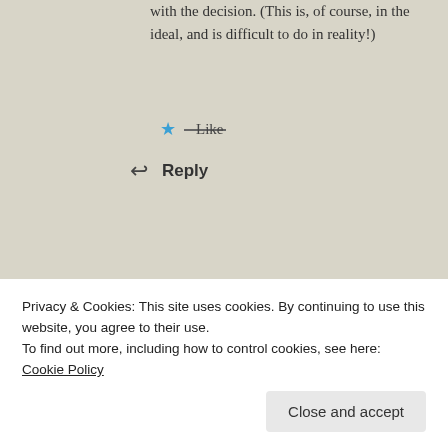with the decision. (This is, of course, in the ideal, and is difficult to do in reality!)
Like
Reply
Advertisements
[Figure (infographic): WordPress advertisement banner: 'Create immersive stories. GET THE APP' with WordPress logo on gradient blue-green-yellow background.]
Howard Brod
Privacy & Cookies: This site uses cookies. By continuing to use this website, you agree to their use. To find out more, including how to control cookies, see here: Cookie Policy
Close and accept
Friends and liberal leaning Friends. I have often